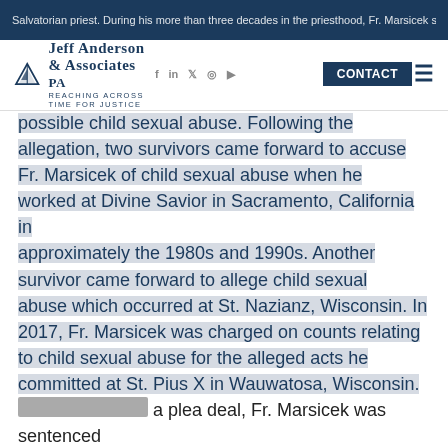Jeff Anderson & Associates PA — Reaching Across Time for Justice | Español | CONTACT
possible child sexual abuse. Following the allegation, two survivors came forward to accuse Fr. Marsicek of child sexual abuse when he worked at Divine Savior in Sacramento, California in approximately the 1980s and 1990s. Another survivor came forward to allege child sexual abuse which occurred at St. Nazianz, Wisconsin. In 2017, Fr. Marsicek was charged on counts relating to child sexual abuse for the alleged acts he committed at St. Pius X in Wauwatosa, Wisconsin. Through a plea deal, Fr. Marsicek was sentenced to one year in prison in December 2017. Fr. Marsicek was included on the Diocese of Phoenix's